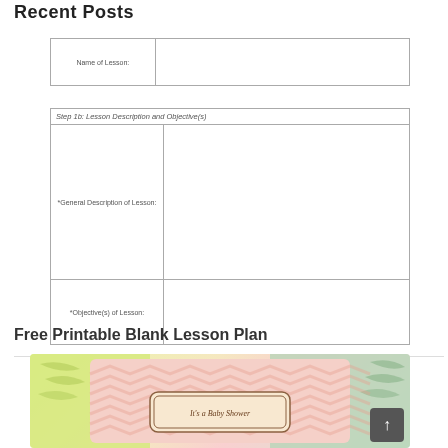Recent Posts
[Figure (table-as-image): Partial lesson plan form showing Name of Lesson field]
[Figure (table-as-image): Lesson plan form section: Step 1b Lesson Description and Objective(s), with General Description of Lesson and Objective(s) of Lesson rows]
Free Printable Blank Lesson Plan
[Figure (photo): Colorful baby shower invitation cards with chevron pattern in pink, yellow, and green colors]